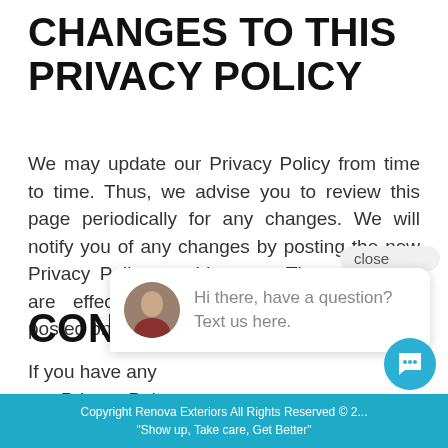CHANGES TO THIS PRIVACY POLICY
We may update our Privacy Policy from time to time. Thus, we advise you to review this page periodically for any changes. We will notify you of any changes by posting the new Privacy Policy on this page. These changes are effective immediately, after they are posted on this page.
CONTACT
If you have any questions or suggestions about our Privacy Policy...
[Figure (screenshot): Chat popup with avatar and message: Hi there, have a question? Text us here. With a close button and a blue chat icon button.]
Copyright Renova Exteriors All Rights Reserved © 2... "Show up, Take care, Get Better"